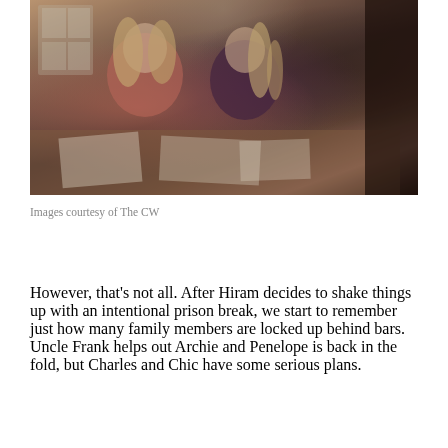[Figure (photo): Two women sitting at a wooden table with papers spread on it, in a dimly lit interior setting. The woman on the left wears a pink top and the woman on the right wears a dark maroon top. A partially visible figure is on the right edge.]
Images courtesy of The CW
However, that's not all. After Hiram decides to shake things up with an intentional prison break, we start to remember just how many family members are locked up behind bars. Uncle Frank helps out Archie and Penelope is back in the fold, but Charles and Chic have some serious plans.